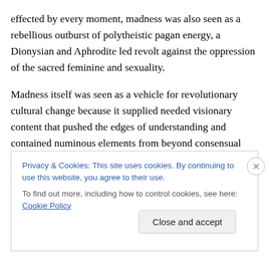effected by every moment, madness was also seen as a rebellious outburst of polytheistic pagan energy, a Dionysian and Aphrodite led revolt against the oppression of the sacred feminine and sexuality.
Madness itself was seen as a vehicle for revolutionary cultural change because it supplied needed visionary content that pushed the edges of understanding and contained numinous elements from beyond consensual consciousness. For John Perry and Joesph Campbell especially, madness was seen as an ancient source of inspiration and a contributor to the evolving, emerging
Privacy & Cookies: This site uses cookies. By continuing to use this website, you agree to their use.
To find out more, including how to control cookies, see here: Cookie Policy